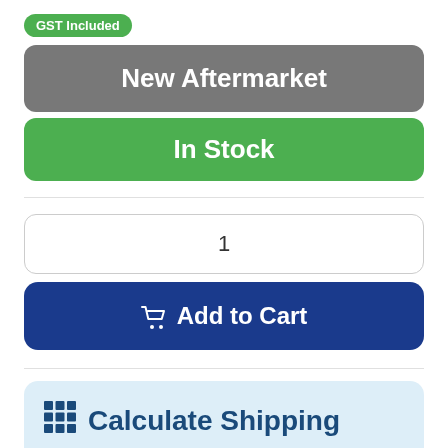GST Included
New Aftermarket
In Stock
1
Add to Cart
Calculate Shipping
Please enter your Post/ZIP Code for accurate shipping costs and available courier options